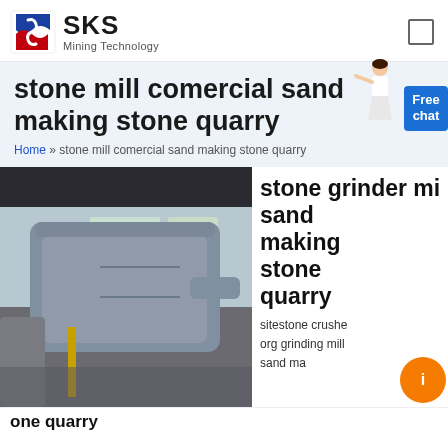[Figure (logo): SKS Mining Technology logo with red/blue S-shaped icon and company name]
stone mill comercial sand making stone quarry
Home » stone mill comercial sand making stone quarry
[Figure (photo): Industrial stone grinding/crushing machine in an indoor factory setting with windows and green trees visible outside]
stone grinder mill sand making stone quarry
sitestone crushe org grinding mill sand ma
one quarry